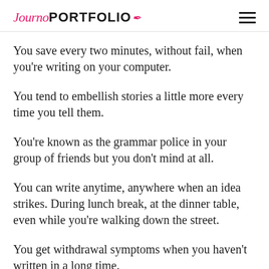JournoPORTFOLIO
You save every two minutes, without fail, when you're writing on your computer.
You tend to embellish stories a little more every time you tell them.
You're known as the grammar police in your group of friends but you don't mind at all.
You can write anytime, anywhere when an idea strikes. During lunch break, at the dinner table, even while you're walking down the street.
You get withdrawal symptoms when you haven't written in a long time.